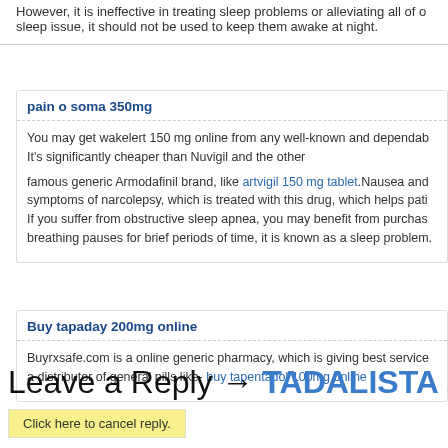However, it is ineffective in treating sleep problems or alleviating all of our sleep issue, it should not be used to keep them awake at night.
pain o soma 350mg
You may get wakelert 150 mg online from any well-known and dependable It's significantly cheaper than Nuvigil and the other famous generic Armodafinil brand, like artvigil 150 mg tablet.Nausea and symptoms of narcolepsy, which is treated with this drug, which helps pati. If you suffer from obstructive sleep apnea, you may benefit from purchas. breathing pauses for brief periods of time, it is known as a sleep problem.
Buy tapaday 200mg online
Buyrxsafe.com is a online generic pharmacy, which is giving best service a distributor of general pills like- buy tapentadol 100mg online
Leave a Reply → TADALISTA 20MG
Click here to cancel reply.